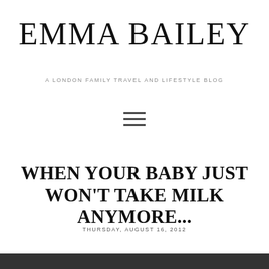EMMA BAILEY
A LONDON FAMILY TRAVEL AND LIFESTYLE BLOG
[Figure (other): Hamburger menu icon (three horizontal lines)]
WHEN YOUR BABY JUST WON'T TAKE MILK ANYMORE...
THURSDAY, AUGUST 16, 2012